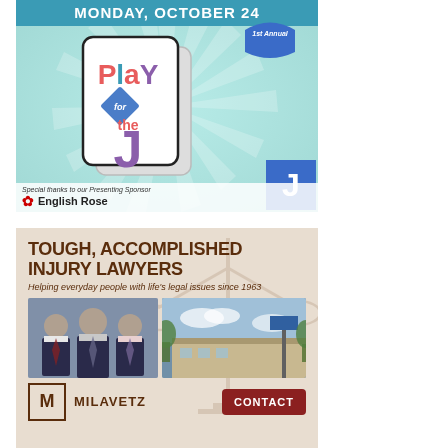[Figure (illustration): 1st Annual Play for the J event advertisement. Teal sunray background, playing card graphic with 'Play for the J' text in red, teal, and purple. Ribbon badge reading '1st Annual'. Blue J block logo. Sponsor bar: 'Special thanks to our Presenting Sponsor English Rose'. Header: MONDAY, OCTOBER 24.]
[Figure (illustration): Milavetz law firm advertisement. Beige background with scales of justice watermark. Text: 'TOUGH, ACCOMPLISHED INJURY LAWYERS - Helping everyday people with life's legal issues since 1963'. Photo of three lawyers in suits and photo of office building. Milavetz logo and name. CONTACT button in dark red.]